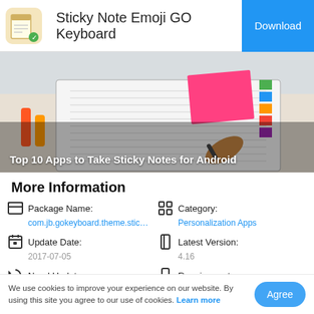Sticky Note Emoji GO Keyboard
[Figure (screenshot): Button labeled Download on blue background in top-right corner]
[Figure (photo): Person writing in planner with colorful sticky note tabs. Caption: Top 10 Apps to Take Sticky Notes for Android]
Top 10 Apps to Take Sticky Notes for Android
More Information
Package Name:
com.jb.gokeyboard.theme.stic…
Category:
Personalization Apps
Update Date:
2017-07-05
Latest Version:
4.16
Need Update:
Requirements:
We use cookies to improve your experience on our website. By using this site you agree to our use of cookies. Learn more